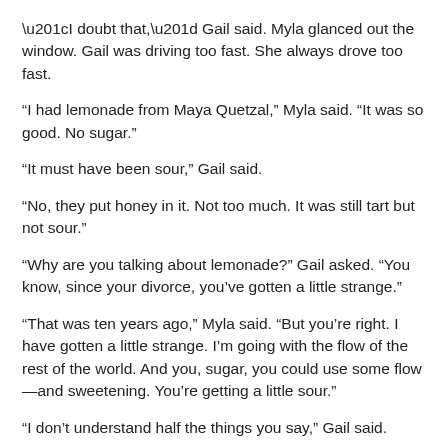“I doubt that,” Gail said. Myla glanced out the window. Gail was driving too fast. She always drove too fast.
“I had lemonade from Maya Quetzal,” Myla said. “It was so good. No sugar.”
“It must have been sour,” Gail said.
“No, they put honey in it. Not too much. It was still tart but not sour.”
“Why are you talking about lemonade?” Gail asked. “You know, since your divorce, you’ve gotten a little strange.”
“That was ten years ago,” Myla said. “But you’re right. I have gotten a little strange. I’m going with the flow of the rest of the world. And you, sugar, you could use some flow—and sweetening. You’re getting a little sour.”
“I don’t understand half the things you say,” Gail said.
“That’s a new record, about half? That’s an improvement.”